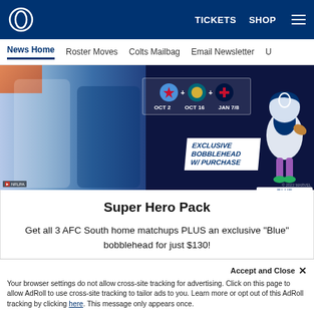TICKETS  SHOP  ☰
News Home  Roster Moves  Colts Mailbag  Email Newsletter  U
[Figure (illustration): Indianapolis Colts Super Hero Pack promotional image showing Marvel-themed Colts players, team logos for Titans, Jaguars, Texans with dates OCT 2, OCT 16, JAN 7/8, and an exclusive Blue bobblehead figurine]
Super Hero Pack
Get all 3 AFC South home matchups PLUS an exclusive "Blue" bobblehead for just $130!
GET YOUR PACK!
Accept and Close ✕
Your browser settings do not allow cross-site tracking for advertising. Click on this page to allow AdRoll to use cross-site tracking to tailor ads to you. Learn more or opt out of this AdRoll tracking by clicking here. This message only appears once.